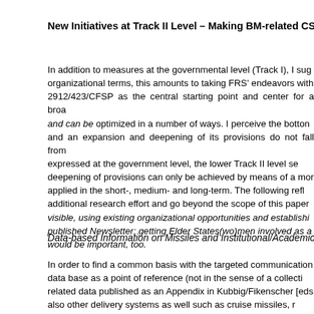New Initiatives at Track II Level – Making BM-related CSBMs a
In addition to measures at the governmental level (Track I), I sug organizational terms, this amounts to taking FRS' endeavors with 2912/423/CFSP as the central starting point and center for a broa and can be optimized in a number of ways. I perceive the botton and an expansion and deepening of its provisions do not fall from expressed at the government level, the lower Track II level se deepening of provisions can only be achieved by means of a mor applied in the short-, medium- and long-term. The following refl additional research effort and go beyond the scope of this paper visible, using existing organizational opportunities and establishi published Newsletter; getting Elder States(wo)men involved as a would be important, too.
Data-based Information on Missiles and Institutional/Academic Pa
In order to find a common basis with the targeted communication data base as a point of reference (not in the sense of a collecti related data published as an Appendix in Kubbig/Fikenscher [eds also other delivery systems as well such as cruise missiles, r information will be important, once at a later stage BMs will hav information on ppotential partners in the region would be most val (continuous) updating, could be a good starting point. Importa academic independence/leeway), but also its special expertise funding situation. More specifically, other EU security initiatives in